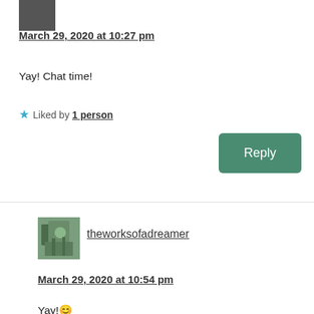[Figure (photo): Small avatar thumbnail, dark toned photo]
March 29, 2020 at 10:27 pm
Yay! Chat time!
★ Liked by 1 person
[Figure (other): Green Reply button]
[Figure (photo): Avatar thumbnail showing theworksofadreamer with green/nature theme]
theworksofadreamer
March 29, 2020 at 10:54 pm
Yay!😊